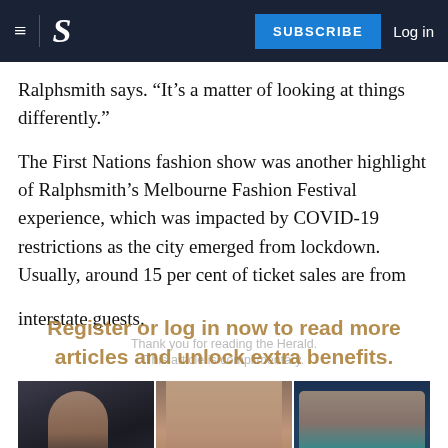S | SUBSCRIBE  Log in
Ralphsmith says. “It’s a matter of looking at things differently.”
The First Nations fashion show was another highlight of Ralphsmith’s Melbourne Fashion Festival experience, which was impacted by COVID-19 restrictions as the city emerged from lockdown. Usually, around 15 per cent of ticket sales are from interstate guests.
Thank you for reading the Herald.
This article is complimentary.
Register or log in now to read more articles and unlock extra benefits.
[Figure (photo): Three fashion show photos side by side: left shows a model in a black dress with arm raised, middle shows a close-up of a model with brown hair, right shows a model in a teal/turquoise dress on a runway. A 'READ MORE' bar overlays the bottom.]